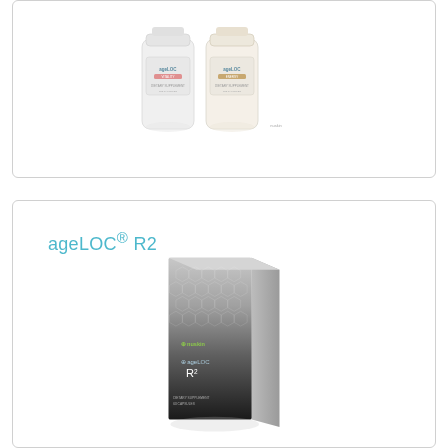[Figure (photo): Two white cylindrical supplement bottles (ageLOC brand) side by side on white background]
ageLOC® R2
[Figure (photo): ageLOC R2 product box — tall rectangular box with silver/black gradient hexagonal pattern design and ageLOC R2 branding]